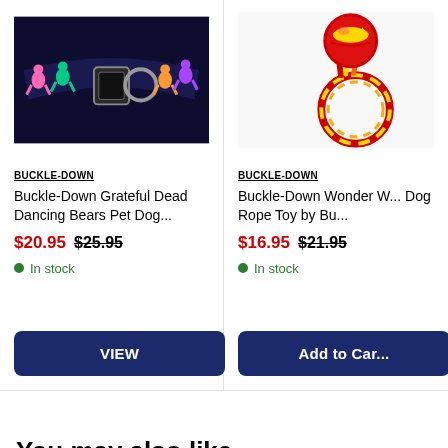[Figure (photo): Buckle-Down Grateful Dead Dancing Bears Pet Dog collar on black background with colorful dancing bear graphics]
BUCKLE-DOWN
Buckle-Down Grateful Dead Dancing Bears Pet Dog...
$20.95 $25.95
In stock
VIEW
[Figure (photo): Buckle-Down Wonder Woman Dog Rope Toy with red ball and Wonder Woman logo, rope ring toy]
BUCKLE-DOWN
Buckle-Down Wonder W... Dog Rope Toy by Bu...
$16.95 $21.95
In stock
Add to Car...
You may also like